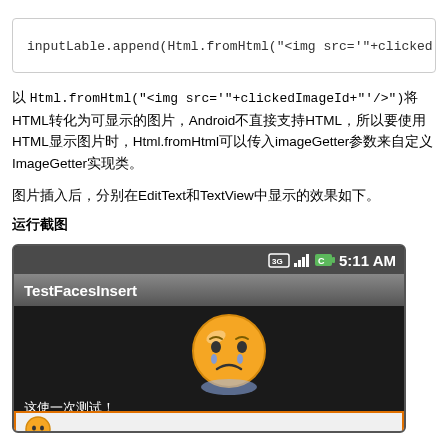inputLable.append(Html.fromHtml("<img src='"+clicked
以 Html.fromHtml("<img src='"+clickedImageId+"'/>")将HTML转化为可显示的图片，Android不直接支持HTML，所以要使用HTML显示图片时，Html.fromHtml可以传入imageGetter参数来自定义ImageGetter实现类。
图片插入后，分别在EditText和TextView中显示的效果如下。
运行截图
[Figure (screenshot): Android app screenshot showing TestFacesInsert app with a crying face emoji displayed in the content area with text '这使一次测试！' and an emoji in the input field at bottom]